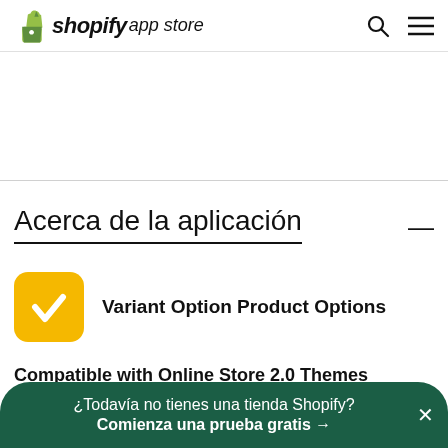shopify app store
Acerca de la aplicación
[Figure (logo): Variant Option Product Options app icon — yellow rounded square with white checkmark]
Variant Option Product Options
Compatible with Online Store 2.0 Themes
¿Todavía no tienes una tienda Shopify? Comienza una prueba gratis →